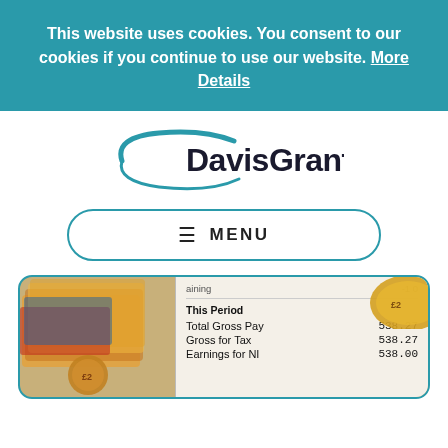This website uses cookies. You consent to our cookies if you continue to use our website. More Details
[Figure (logo): DavisGrant company logo with teal arc/swoosh graphic and bold text]
≡ MENU
[Figure (photo): Photo of British coins and paper money alongside a payslip showing: This Period - Total Gross Pay 538.27, Gross for Tax 538.27, Earnings for NI 538.00]